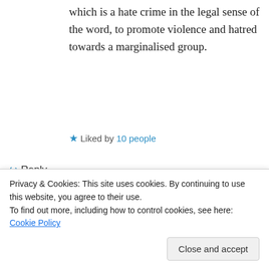which is a hate crime in the legal sense of the word, to promote violence and hatred towards a marginalised group.
★ Liked by 10 people
↪ Reply
[Figure (screenshot): Advertisement banner for Pocket Casts app: red background with text 'An app by listeners, for listeners.' and Pocket Casts logo]
Privacy & Cookies: This site uses cookies. By continuing to use this website, you agree to their use.
To find out more, including how to control cookies, see here: Cookie Policy
Close and accept